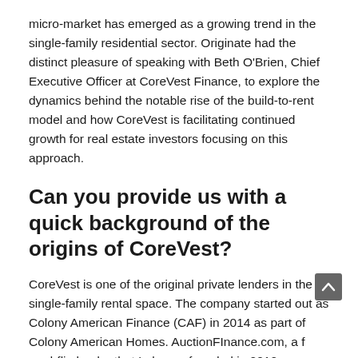micro-market has emerged as a growing trend in the single-family residential sector. Originate had the distinct pleasure of speaking with Beth O'Brien, Chief Executive Officer at CoreVest Finance, to explore the dynamics behind the notable rise of the build-to-rent model and how CoreVest is facilitating continued growth for real estate investors focusing on this approach.
Can you provide us with a quick background of the origins of CoreVest?
CoreVest is one of the original private lenders in the single-family rental space. The company started out as Colony American Finance (CAF) in 2014 as part of Colony American Homes. AuctionFInance.com, a fix-and-flip lender that I also co-founded in 2012, was acquired by...